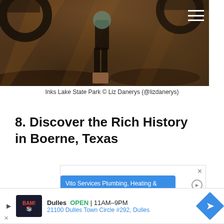[Figure (photo): Outdoor photo of a person standing near a vehicle at Inks Lake State Park, with dappled sunlight and shadows on the ground.]
Inks Lake State Park © Liz Danerys (@lizdanerys)
8. Discover the Rich History in Boerne, Texas
[Figure (screenshot): Advertisement for Vito Services Plumbing, Heating & Cooling with a blue banner and close/play buttons.]
[Figure (screenshot): Advertisement for BAM! Books-A-Million at Dulles, showing store hours OPEN 11AM-9PM and address 21100 Dulles Town Circle #292, Dulles.]